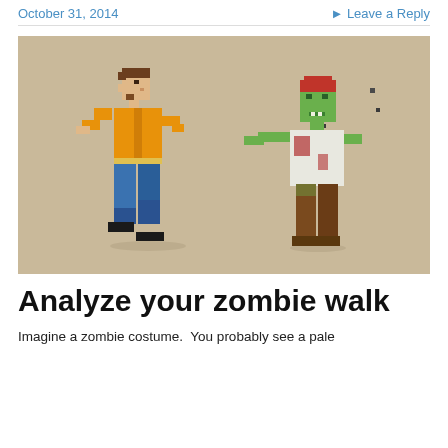October 31, 2014    Leave a Reply
[Figure (illustration): Pixel art illustration of a man in an orange shirt and blue pants running away from a green zombie with arms outstretched, on a tan/beige background.]
Analyze your zombie walk
Imagine a zombie costume.  You probably see a pale